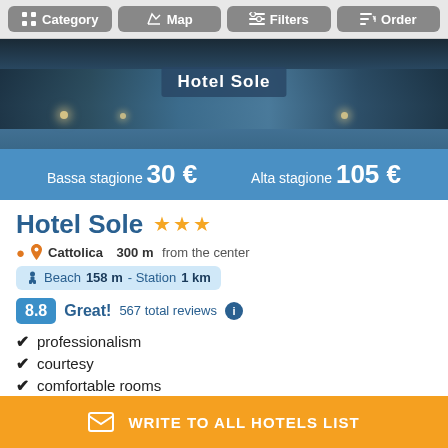Category  Map  Filters  Order
[Figure (photo): Hotel Sole exterior building photo at night with illuminated sign]
Bassa stagione 30 €   Alta stagione 105 €
Hotel Sole ★★★
Cattolica 300 m from the center
Beach 158 m - Station 1 km
8.8  Great!  567 total reviews
professionalism
courtesy
comfortable rooms
quality creative cuisine
WRITE TO ALL HOTELS LIST